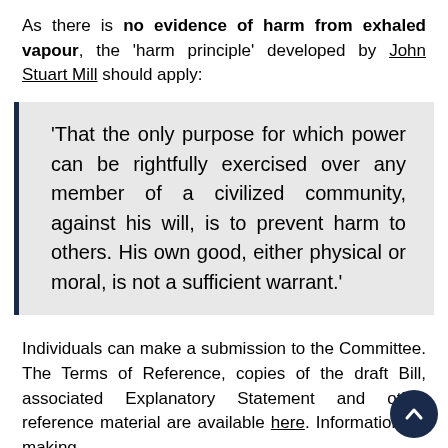As there is no evidence of harm from exhaled vapour, the 'harm principle' developed by John Stuart Mill should apply:
'That the only purpose for which power can be rightfully exercised over any member of a civilized community, against his will, is to prevent harm to others. His own good, either physical or moral, is not a sufficient warrant.'
Individuals can make a submission to the Committee. The Terms of Reference, copies of the draft Bill, associated Explanatory Statement and other reference material are available here. Information on making a submission can be found here.